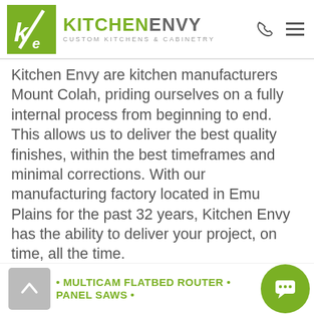Kitchen Envy Custom Kitchens & Cabinetry
Kitchen Envy are kitchen manufacturers Mount Colah, priding ourselves on a fully internal process from beginning to end. This allows us to deliver the best quality finishes, within the best timeframes and minimal corrections. With our manufacturing factory located in Emu Plains for the past 32 years, Kitchen Envy has the ability to deliver your project, on time, all the time.
THE KITCHEN ENVY MANUFACTURING FACTORY IS FULLY EQUIPPED WITH THE LATEST CABINET MAKING MOUNT COLAH AND JOINERY MOUNT COLAH EQUIPMENT SUCH AS:
• MULTICAM FLATBED ROUTER • PANEL SAWS •